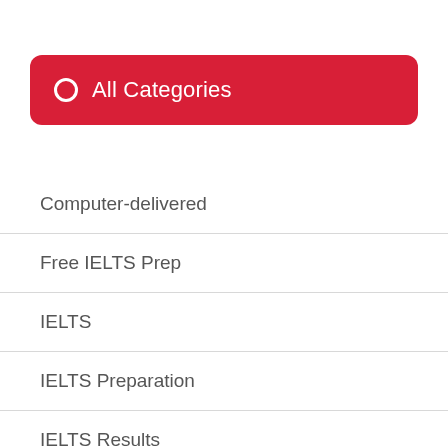All Categories
Computer-delivered
Free IELTS Prep
IELTS
IELTS Preparation
IELTS Results
Listening Prep